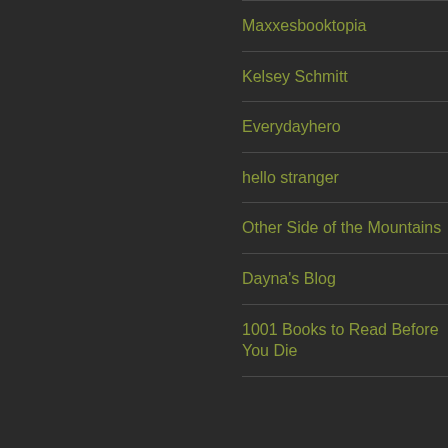Maxxesbooktopia
Kelsey Schmitt
Everydayhero
hello stranger
Other Side of the Mountains
Dayna's Blog
1001 Books to Read Before You Die